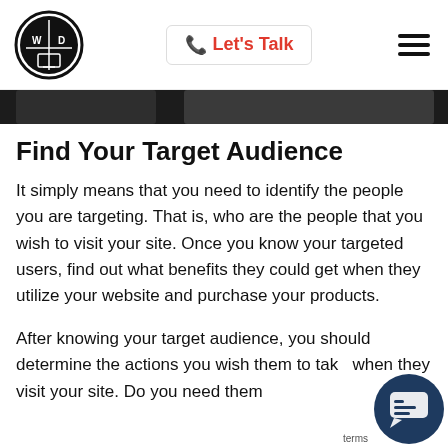Let's Talk
Find Your Target Audience
It simply means that you need to identify the people you are targeting. That is, who are the people that you wish to visit your site. Once you know your targeted users, find out what benefits they could get when they utilize your website and purchase your products.
After knowing your target audience, you should determine the actions you wish them to take when they visit your site. Do you need them